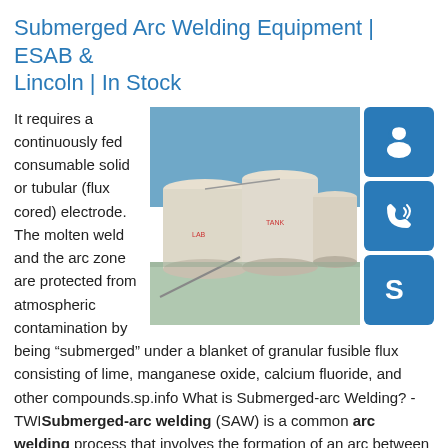Submerged Arc Welding Equipment | ESAB & Lincoln | In Stock
[Figure (photo): Industrial storage tanks/silos at an industrial facility, viewed from above at an angle, blue sky background]
[Figure (infographic): Three blue icon buttons: headset/customer support icon, phone/call icon, Skype icon]
It requires a continuously fed consumable solid or tubular (flux cored) electrode. The molten weld and the arc zone are protected from atmospheric contamination by being “submerged” under a blanket of granular fusible flux consisting of lime, manganese oxide, calcium fluoride, and other compounds.sp.info What is Submerged-arc Welding? - TWISubmerged-arc welding (SAW) is a common arc welding process that involves the formation of an arc between a continuously fed electrode and the workpiece. A blanket of powdered flux generates a protective gas shield and a slag (and may also be used to add alloying elements to the weld pool) which protects the weld zone.sp.info